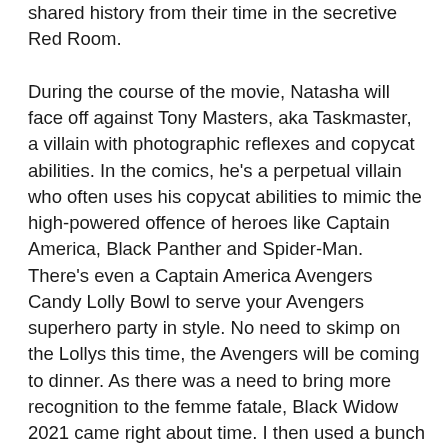shared history from their time in the secretive Red Room.

During the course of the movie, Natasha will face off against Tony Masters, aka Taskmaster, a villain with photographic reflexes and copycat abilities. In the comics, he's a perpetual villain who often uses his copycat abilities to mimic the high-powered offence of heroes like Captain America, Black Panther and Spider-Man. There's even a Captain America Avengers Candy Lolly Bowl to serve your Avengers superhero party in style. No need to skimp on the Lollys this time, the Avengers will be coming to dinner. As there was a need to bring more recognition to the femme fatale, Black Widow 2021 came right about time. I then used a bunch of plastic spiders I picked up at the dollar store which I simply attached with the wire that came with them. I came up with this set-up on my own, and I ended up having everything in my garage already. Please note that these are some, but not all, of the new Iron Man costumes. Black Widow was introduced to the Marvel Cinematic